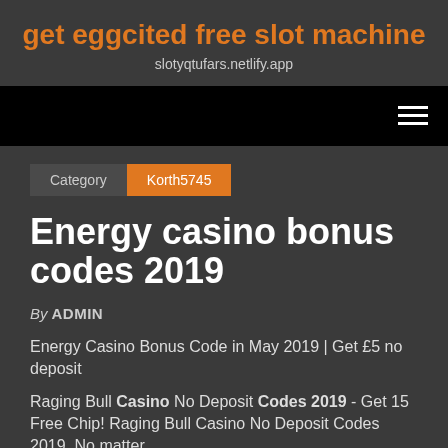get eggcited free slot machine
slotyqtufars.netlify.app
[Figure (other): Navigation bar with hamburger menu icon (three horizontal lines) on black background]
Category  Korth5745
Energy casino bonus codes 2019
By ADMIN
Energy Casino Bonus Code in May 2019 | Get £5 no deposit
Raging Bull Casino No Deposit Codes 2019 - Get 15 Free Chip! Raging Bull Casino No Deposit Codes 2019. No matter